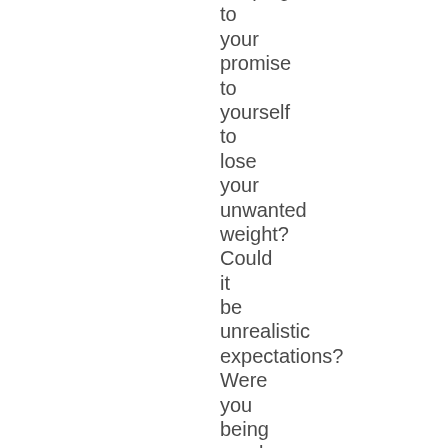keeping to your promise to yourself to lose your unwanted weight? Could it be unrealistic expectations? Were you being overly optimistic about what would